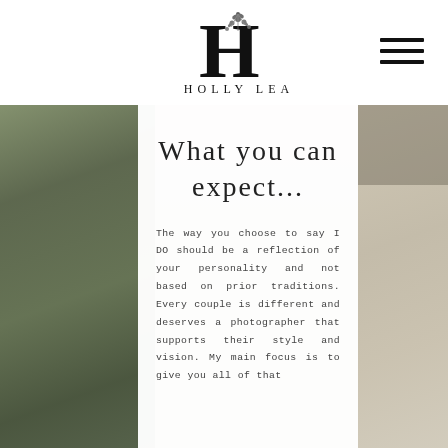HOLLY LEA
[Figure (photo): Sepia-toned wedding reception photo with floral arrangements and table settings, partially visible on left and right sides behind a white content overlay box]
What you can expect...
The way you choose to say I DO should be a reflection of your personality and not based on prior traditions. Every couple is different and deserves a photographer that supports their style and vision. My main focus is to give you all of that